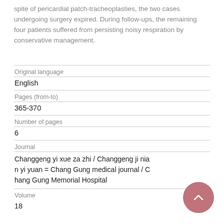spite of pericardial patch-tracheoplasties, the two cases undergoing surgery expired. During follow-ups, the remaining four patients suffered from persisting noisy respiration by conservative management.
| Original language | English |
| Pages (from-to) | 365-370 |
| Number of pages | 6 |
| Journal | Changgeng yi xue za zhi / Changgeng ji nian yi yuan = Chang Gung medical journal / Chang Gung Memorial Hospital |
| Volume | 18 |